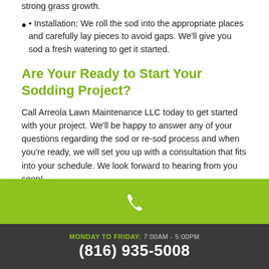strong grass growth.
• Installation: We roll the sod into the appropriate places and carefully lay pieces to avoid gaps. We'll give you sod a fresh watering to get it started.
Are Your Ready to Start Your Sodding Project?
Call Arreola Lawn Maintenance LLC today to get started with your project. We'll be happy to answer any of your questions regarding the sod or re-sod process and when you're ready, we will set you up with a consultation that fits into your schedule. We look forward to hearing from you soon!
[Figure (infographic): Green banner with white phone icon]
MONDAY TO FRIDAY: 7:00AM - 5:00PM
(816) 935-5008